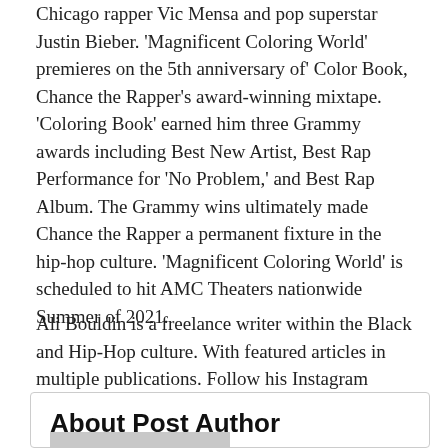Chicago rapper Vic Mensa and pop superstar Justin Bieber. 'Magnificent Coloring World' premieres on the 5th anniversary of' Color Book, Chance the Rapper's award-winning mixtape. 'Coloring Book' earned him three Grammy awards including Best New Artist, Best Rap Performance for 'No Problem,' and Best Rap Album. The Grammy wins ultimately made Chance the Rapper a permanent fixture in the hip-hop culture. 'Magnificent Coloring World' is scheduled to hit AMC Theaters nationwide Summer of 2021.
Ali Bouldin is a freelance writer within the Black and Hip-Hop culture. With featured articles in multiple publications. Follow his Instagram @Ali.Bouldin.
About Post Author